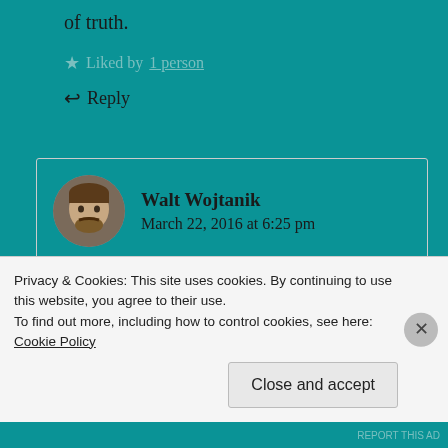of truth.
Liked by 1 person
Reply
Walt Wojtanik
March 22, 2016 at 6:25 pm
This is dandy, Candy! (Hey, you started the pun work!) But seriously, a smart bit of worded wonder!
Privacy & Cookies: This site uses cookies. By continuing to use this website, you agree to their use.
To find out more, including how to control cookies, see here: Cookie Policy
Close and accept